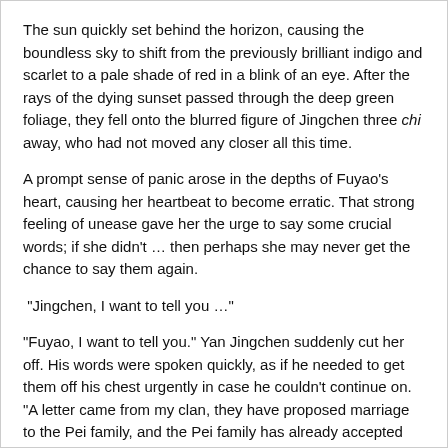The sun quickly set behind the horizon, causing the boundless sky to shift from the previously brilliant indigo and scarlet to a pale shade of red in a blink of an eye. After the rays of the dying sunset passed through the deep green foliage, they fell onto the blurred figure of Jingchen three chi away, who had not moved any closer all this time.
A prompt sense of panic arose in the depths of Fuyao's heart, causing her heartbeat to become erratic. That strong feeling of unease gave her the urge to say some crucial words; if she didn't … then perhaps she may never get the chance to say them again.
"Jingchen, I want to tell you …"
"Fuyao, I want to tell you." Yan Jingchen suddenly cut her off. His words were spoken quickly, as if he needed to get them off his chest urgently in case he couldn't continue on. "A letter came from my clan, they have proposed marriage to the Pei family, and the Pei family has already accepted the betrothal gift. After the True Martial conference, I … will marry Pei Yuan."